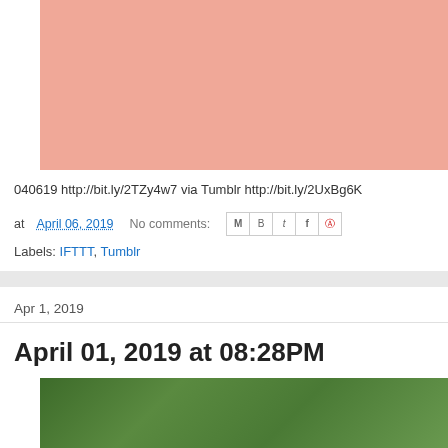[Figure (photo): Salmon/peach colored rectangle representing an image placeholder at top of blog post]
040619 http://bit.ly/2TZy4w7 via Tumblr http://bit.ly/2UxBg6K
at April 06, 2019   No comments:
Labels: IFTTT, Tumblr
Apr 1, 2019
April 01, 2019 at 08:28PM
[Figure (photo): Green foliage/plants photograph at bottom of page, partially visible]